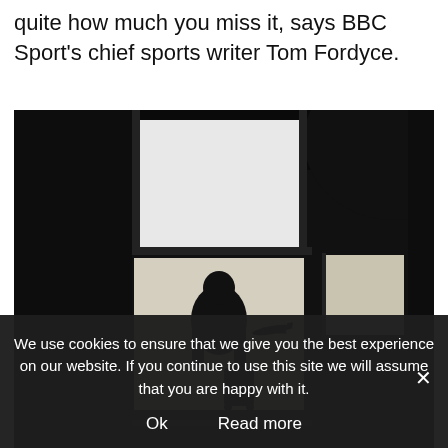quite how much you miss it, says BBC Sport's chief sports writer Tom Fordyce.
[Figure (photo): Silhouette of a person standing with luggage in front of a large airport window, with an airplane visible in the bright background. Dark, atmospheric black and white image.]
We use cookies to ensure that we give you the best experience on our website. If you continue to use this site we will assume that you are happy with it.
Ok   Read more